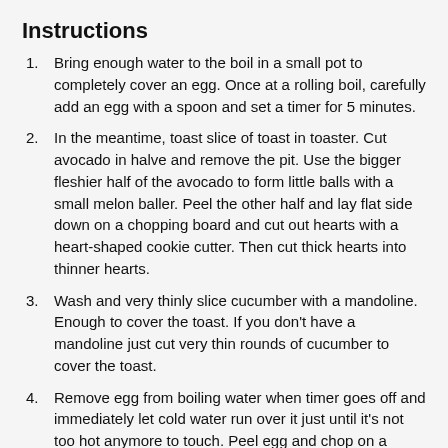Instructions
Bring enough water to the boil in a small pot to completely cover an egg. Once at a rolling boil, carefully add an egg with a spoon and set a timer for 5 minutes.
In the meantime, toast slice of toast in toaster. Cut avocado in halve and remove the pit. Use the bigger fleshier half of the avocado to form little balls with a small melon baller. Peel the other half and lay flat side down on a chopping board and cut out hearts with a heart-shaped cookie cutter. Then cut thick hearts into thinner hearts.
Wash and very thinly slice cucumber with a mandoline. Enough to cover the toast. If you don't have a mandoline just cut very thin rounds of cucumber to cover the toast.
Remove egg from boiling water when timer goes off and immediately let cold water run over it just until it's not too hot anymore to touch. Peel egg and chop on a chopping board.
Assemble avocado toast by adding cucumber, avocado balls and chopped egg. Sprinkle with salt and pepper, drizzle with olive oil and enjoy!